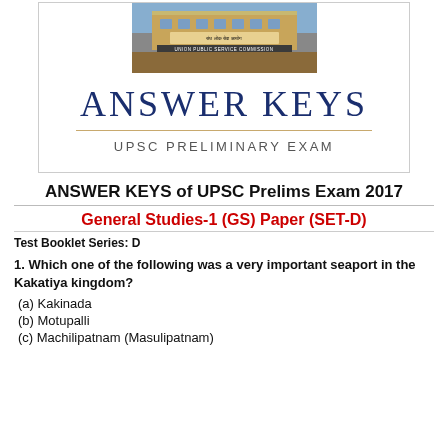[Figure (photo): UPSC building photo with sign 'संघ लोक सेवा आयोग' and 'Union Public Service Commission']
ANSWER KEYS
UPSC PRELIMINARY EXAM
ANSWER KEYS of UPSC Prelims Exam 2017
General Studies-1 (GS) Paper (SET-D)
Test Booklet Series: D
1. Which one of the following was a very important seaport in the Kakatiya kingdom?
(a) Kakinada
(b) Motupalli
(c) Machilipatnam (Masulipatnam)